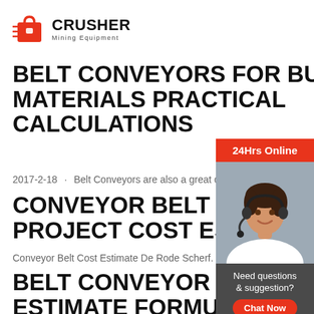[Figure (logo): CRUSHER Mining Equipment logo with red shopping bag icon]
BELT CONVEYORS FOR BULK MATERIALS PRACTICAL CALCULATIONS
2017-2-18 · Belt Conveyors are also a great c
CONVEYOR BELT SYST PROJECT COST ESTIM
Conveyor Belt Cost Estimate De Rode Scherf. C
BELT CONVEYOR COST ESTIMATE FORMULA–B CONVEYOR
[Figure (photo): Customer service representative with headset. Sidebar with 24Hrs Online banner, Need questions & suggestion? text, Chat Now button, Enquiry link, and limingjlmofen@sina.com email]